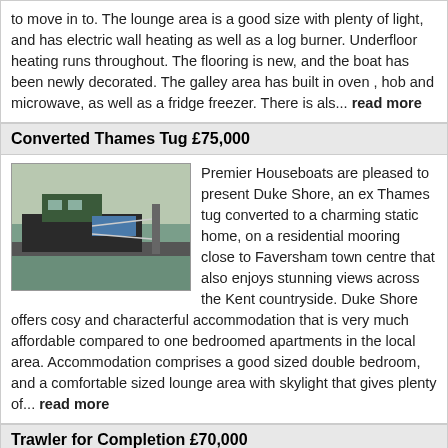to move in to. The lounge area is a good size with plenty of light, and has electric wall heating as well as a log burner. Underfloor heating runs throughout. The flooring is new, and the boat has been newly decorated. The galley area has built in oven , hob and microwave, as well as a fridge freezer. There is als... read more
Converted Thames Tug £75,000
[Figure (photo): Converted Thames Tug boat moored at dock]
Premier Houseboats are pleased to present Duke Shore, an ex Thames tug converted to a charming static home, on a residential mooring close to Faversham town centre that also enjoys stunning views across the Kent countryside. Duke Shore offers cosy and characterful accommodation that is very much affordable compared to one bedroomed apartments in the local area. Accommodation comprises a good sized double bedroom, and a comfortable sized lounge area with skylight that gives plenty of... read more
Trawler for Completion £70,000
[Figure (photo): Trawler boat at dock]
Premier Houseboats are pleased to present Grampian Quest, an exceptional opportunity to convert a trawler into an outstanding character home, with the benefit of being able to live aboard whilst converting. Grampian Quest offers plenty of